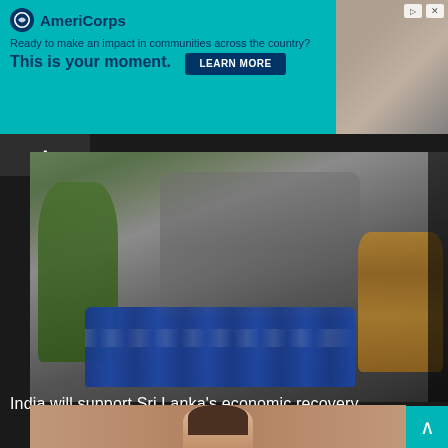[Figure (screenshot): AmeriCorps advertisement banner with teal background. Logo with navy circle and text 'AmeriCorps'. Tagline: 'Ready to make an impact in communities across the country?' Headline: 'This is your moment.' with a 'LEARN MORE' button. Side photo showing a person.]
[Figure (photo): People standing in a long queue next to a row of blue gas cylinders on a street. A woman in green floral clothing walks on the left. A woman in yellow floral clothing sits on the right side.]
India will support Sri Lanka's economic recovery
[Figure (photo): Partial view of a person's face/head at the bottom of the page, cropped. Teal scroll-up button in bottom-right corner.]